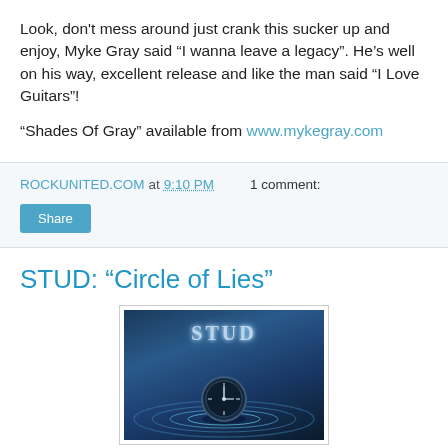Look, don't mess around just crank this sucker up and enjoy, Myke Gray said “I wanna leave a legacy”. He’s well on his way, excellent release and like the man said “I Love Guitars”!
"Shades Of Gray" available from www.mykegray.com
ROCKUNITED.COM at 9:10 PM   1 comment:
STUD: "Circle of Lies"
[Figure (photo): Album cover for STUD 'Circle of Lies' showing the band logo in stylized gothic lettering at the top and a clock/watch mechanism with concentric rings below, on a dark blue atmospheric background]